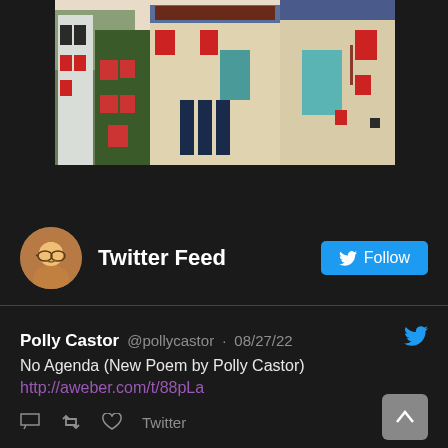[Figure (illustration): Colorful painting of urban buildings with red, green, teal and blue colors on dark background. Buildings shown with windows, storefronts in an expressionist/folk art style.]
Twitter Feed
Follow
Polly Castor @pollycastor · 08/27/22
No Agenda (New Poem by Polly Castor)
http://aweber.com/t/88pLa
Twitter